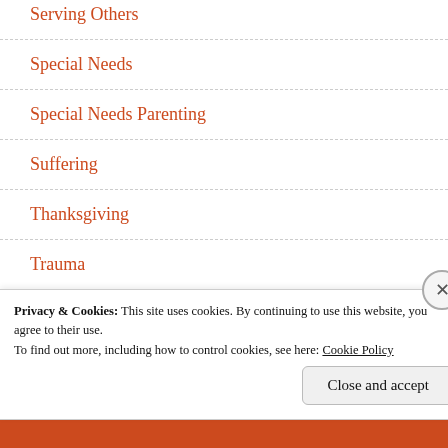Serving Others
Special Needs
Special Needs Parenting
Suffering
Thanksgiving
Trauma
Uncategorized
Privacy & Cookies: This site uses cookies. By continuing to use this website, you agree to their use.
To find out more, including how to control cookies, see here: Cookie Policy
Close and accept